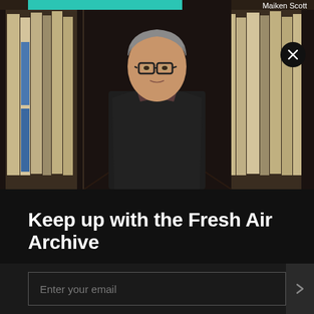[Figure (photo): A woman with short gray hair and glasses wearing a black denim jacket stands in a narrow aisle between tall shelving units filled with archival folders and binders. Photo credit: Maiken Scott.]
Keep up with the Fresh Air Archive
We'll email you with exciting news from time to time.